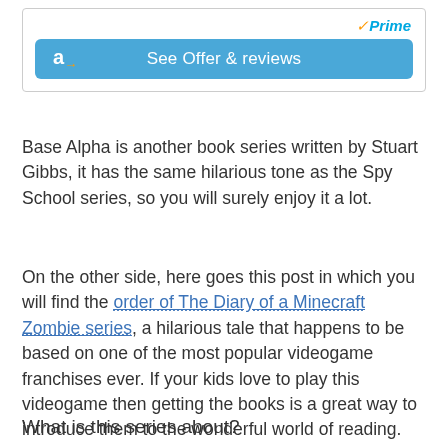[Figure (screenshot): Amazon Prime 'See Offer & reviews' button with Amazon logo and Prime badge]
Base Alpha is another book series written by Stuart Gibbs, it has the same hilarious tone as the Spy School series, so you will surely enjoy it a lot.
On the other side, here goes this post in which you will find the order of The Diary of a Minecraft Zombie series, a hilarious tale that happens to be based on one of the most popular videogame franchises ever. If your kids love to play this videogame then getting the books is a great way to introduce them to the wonderful world of reading.
What is this series about?